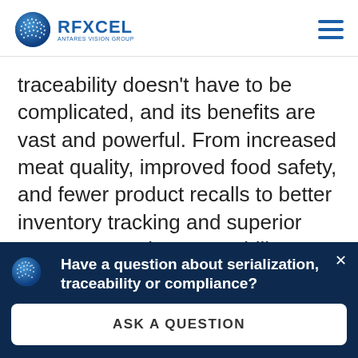RFXCEL ANTARES VISION GROUP
traceability doesn’t have to be complicated, and its benefits are vast and powerful. From increased meat quality, improved food safety, and fewer product recalls to better inventory tracking and superior customer service, traceability delivers a range of benefits that go far beyond simply responding to consumers’
[Figure (infographic): Dark blue banner popup with RFXCEL logo, text ‘Have a question about serialization, traceability or compliance?’ and an ASK A QUESTION button]